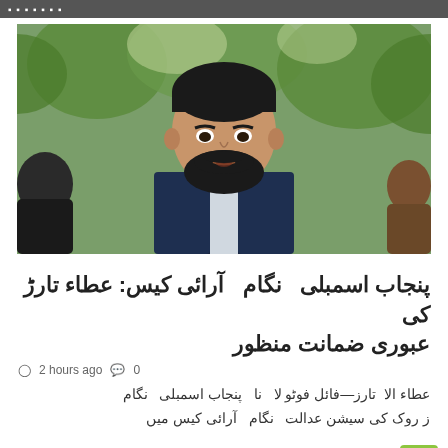▪ ▪ ▪ ▪ ▪ ▪ ▪
[Figure (photo): A bearded young man in a dark quilted vest over a light shirt, speaking outdoors with green trees in background, other people partially visible on sides.]
پنجاب اسمبلی نگام آرائی کیس: عطاء تارڑ کی عبوری ضمانت منظور
© 2 hours ago  💬 0
عطاء الا تارز—فائل فوٹو لا نا پنجاب اسمبلی نگام ز روک کی سیشن عدالت نگام آرائی کیس میں ...